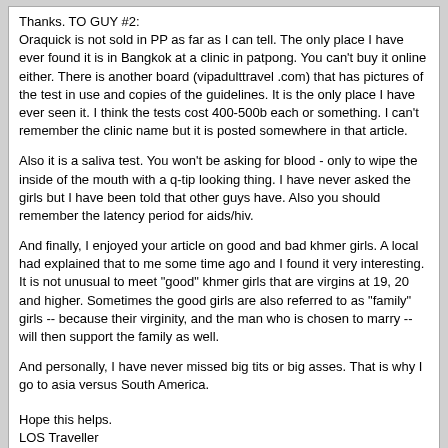Thanks. TO GUY #2:
Oraquick is not sold in PP as far as I can tell. The only place I have ever found it is in Bangkok at a clinic in patpong. You can't buy it online either. There is another board (vipadulttravel .com) that has pictures of the test in use and copies of the guidelines. It is the only place I have ever seen it. I think the tests cost 400-500b each or something. I can't remember the clinic name but it is posted somewhere in that article.

Also it is a saliva test. You won't be asking for blood - only to wipe the inside of the mouth with a q-tip looking thing. I have never asked the girls but I have been told that other guys have. Also you should remember the latency period for aids/hiv.

And finally, I enjoyed your article on good and bad khmer girls. A local had explained that to me some time ago and I found it very interesting. It is not unusual to meet "good" khmer girls that are virgins at 19, 20 and higher. Sometimes the good girls are also referred to as "family" girls -- because their virginity, and the man who is chosen to marry -- will then support the family as well.

And personally, I have never missed big tits or big asses. That is why I go to asia versus South America.


Hope this helps.
LOS Traveller
MeatMan	06-17-03, 19:34
Guy #2,

Your post was accurate,and clear to the point.I even made a copy of it! Thanks for info!

Camboida Pro--Well, I'm not the one to back down from a adventure. I had made up my mind a few days ago on wheather I wanted to come and my